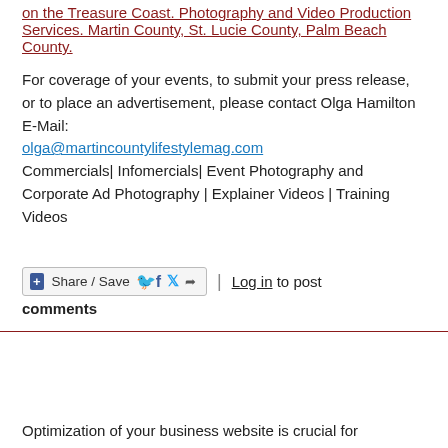on the Treasure Coast. Photography and Video Production Services. Martin County, St. Lucie County, Palm Beach County.
For coverage of your events, to submit your press release, or to place an advertisement, please contact Olga Hamilton E-Mail: olga@martincountylifestylemag.com Commercials| Infomercials| Event Photography and Corporate Ad Photography | Explainer Videos | Training Videos
Share / Save  | Log in to post comments
Optimization of your business website is crucial for